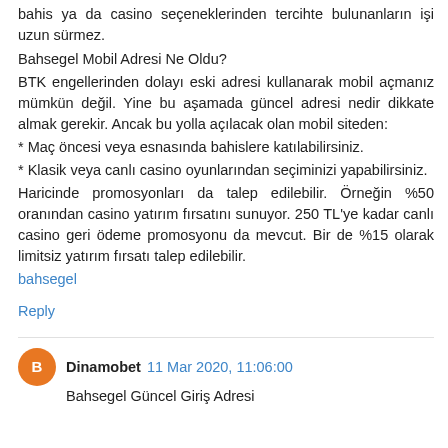bahis ya da casino seçeneklerinden tercihte bulunanların işi uzun sürmez.
Bahsegel Mobil Adresi Ne Oldu?
BTK engellerinden dolayı eski adresi kullanarak mobil açmanız mümkün değil. Yine bu aşamada güncel adresi nedir dikkate almak gerekir. Ancak bu yolla açılacak olan mobil siteden:
* Maç öncesi veya esnasında bahislere katılabilirsiniz.
* Klasik veya canlı casino oyunlarından seçiminizi yapabilirsiniz.
Haricinde promosyonları da talep edilebilir. Örneğin %50 oranından casino yatırım fırsatını sunuyor. 250 TL'ye kadar canlı casino geri ödeme promosyonu da mevcut. Bir de %15 olarak limitsiz yatırım fırsatı talep edilebilir.
bahsegel
Reply
Dinamobet 11 Mar 2020, 11:06:00
Bahsegel Güncel Giriş Adresi